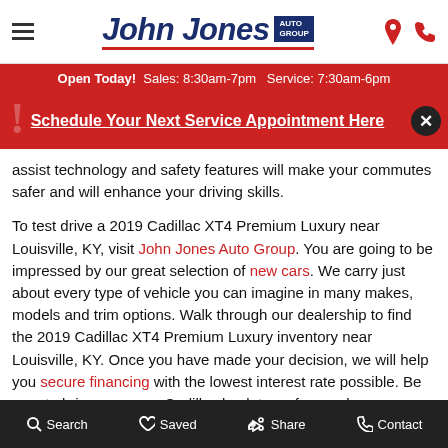John Jones Auto Group — Open Today! Sales: 8:30am-7pm  Service: 7:30am-6pm
Schedule Your Next Service Appointment Here
assist technology and safety features will make your commutes safer and will enhance your driving skills.

To test drive a 2019 Cadillac XT4 Premium Luxury near Louisville, KY, visit John Jones Auto Group. You are going to be impressed by our great selection of new cars. We carry just about every type of vehicle you can imagine in many makes, models and trim options. Walk through our dealership to find the 2019 Cadillac XT4 Premium Luxury inventory near Louisville, KY. Once you have made your decision, we will help you secure financing with the lowest interest rate possible. Be sure to bring your new Cadillac back to us for regular maintenance, repairs and detailing services. Come on down and visit us near Scottsburg, IN.
Search  Saved  Share  Contact